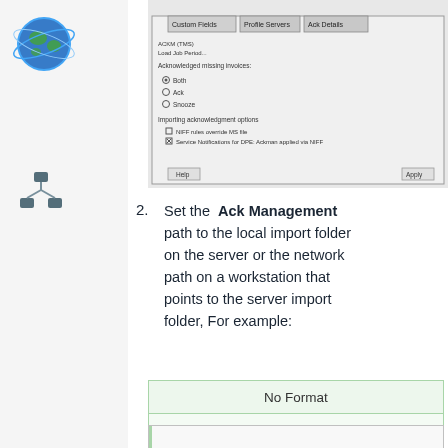[Figure (screenshot): Screenshot of a software dialog/settings window with radio buttons and checkboxes]
2. Set the Ack Management path to the local import folder on the server or the network path on a workstation that points to the server import folder, For example:
No Format
(Capricorn   installe